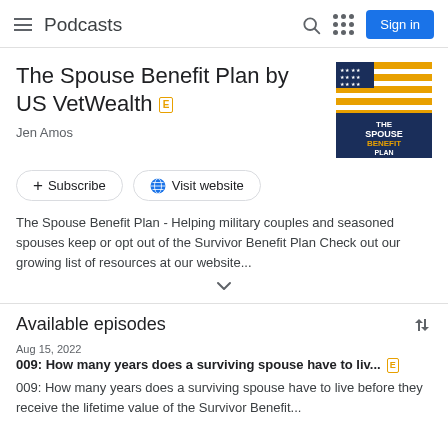Podcasts
The Spouse Benefit Plan by US VetWealth [E]
Jen Amos
[Figure (logo): The Spouse Benefit Plan podcast logo with American flag and text 'THE SPOUSE BENEFIT PLAN']
+ Subscribe  Visit website
The Spouse Benefit Plan - Helping military couples and seasoned spouses keep or opt out of the Survivor Benefit Plan Check out our growing list of resources at our website...
Available episodes
Aug 15, 2022
009: How many years does a surviving spouse have to liv... [E]
009: How many years does a surviving spouse have to live before they receive the lifetime value of the Survivor Benefit...